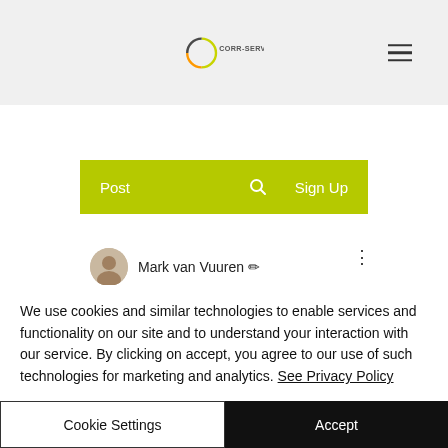[Figure (logo): CORR-SERVE logo with circular graphic and text]
[Figure (infographic): Website navigation bar with Post, search icon, and Sign Up on yellow-green background]
Mark van Vuuren ✏
We use cookies and similar technologies to enable services and functionality on our site and to understand your interaction with our service. By clicking on accept, you agree to our use of such technologies for marketing and analytics. See Privacy Policy
Cookie Settings
Accept